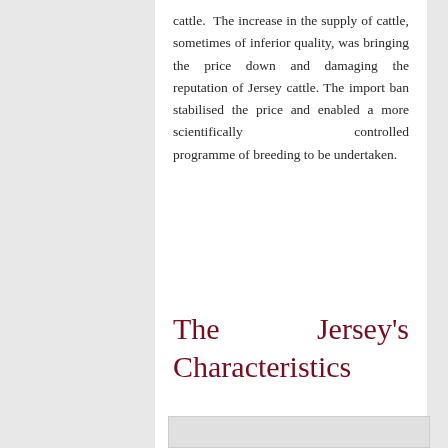cattle. The increase in the supply of cattle, sometimes of inferior quality, was bringing the price down and damaging the reputation of Jersey cattle. The import ban stabilised the price and enabled a more scientifically controlled programme of breeding to be undertaken.
The Jersey's Characteristics
[Figure (photo): Partial image visible at bottom of page, light gray background]